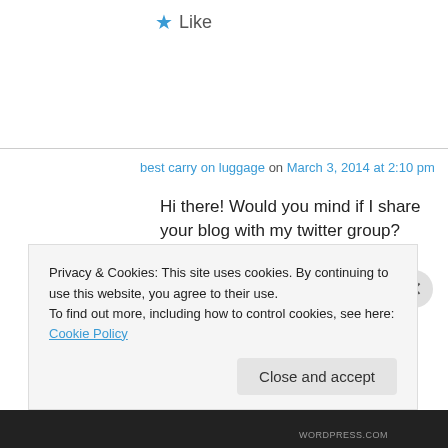★ Like
best carry on luggage on March 3, 2014 at 2:10 pm
Hi there! Would you mind if I share your blog with my twitter group? There's a lot of people that I think would really appreciate your content.
Privacy & Cookies: This site uses cookies. By continuing to use this website, you agree to their use.
To find out more, including how to control cookies, see here: Cookie Policy
Close and accept